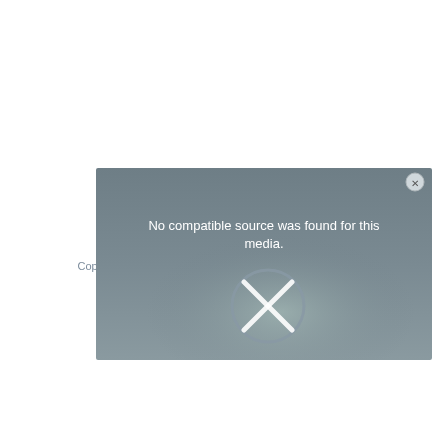[Figure (screenshot): A video player error overlay with dark gray gradient background, showing 'No compatible source was found for this media.' message in white text, a large X circle icon in the center-bottom area, and a close (x) button in the top-right corner.]
Copyright© 2022 Bob Cut Magazine. Powered by Zakra and WordPress.